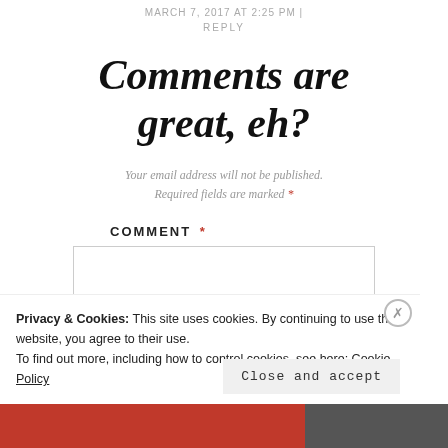MARCH 7, 2017 AT 2:25 PM | REPLY
Comments are great, eh?
Your email address will not be published. Required fields are marked *
COMMENT *
Privacy & Cookies: This site uses cookies. By continuing to use this website, you agree to their use. To find out more, including how to control cookies, see here: Cookie Policy
Close and accept